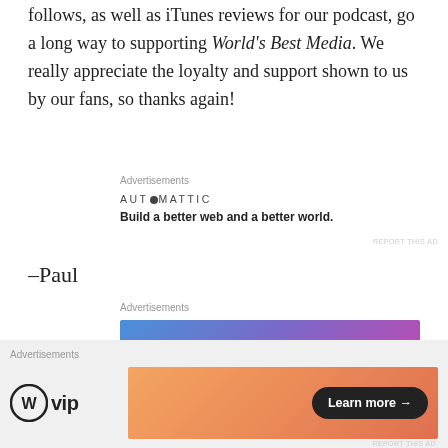follows, as well as iTunes reviews for our podcast, go a long way to supporting World's Best Media. We really appreciate the loyalty and support shown to us by our fans, so thanks again!
Advertisements
[Figure (other): Automattic logo and tagline: AUTOMATTIC — Build a better web and a better world.]
REPORT THIS AD
-Paul
Advertisements
[Figure (other): Blue/purple gradient advertisement banner: Simplified pricing for everything you need.]
Advertisements
[Figure (other): WordPress VIP logo with orange gradient ad and Learn more button.]